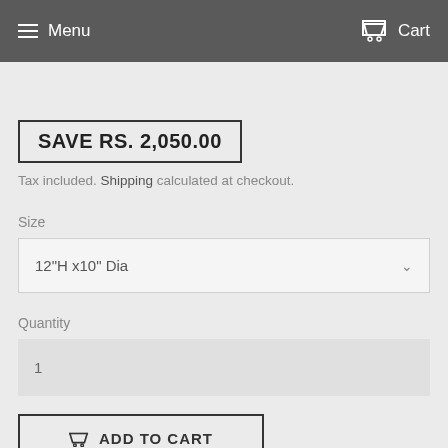Menu   Cart
SAVE RS. 2,050.00
Tax included. Shipping calculated at checkout.
Size
12"H x10" Dia
Quantity
1
ADD TO CART
BUY IT NOW